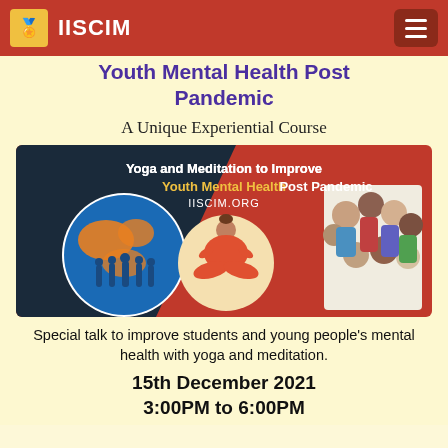IISCIM
Youth Mental Health Post Pandemic
A Unique Experiential Course
[Figure (illustration): Banner image with text 'Yoga and Meditation to Improve Youth Mental Health Post Pandemic' and 'IISCIM.ORG', showing a globe with people, a meditating figure, and a group of youth.]
Special talk to improve students and young people's mental health with yoga and meditation.
15th December 2021
3:00PM to 6:00PM